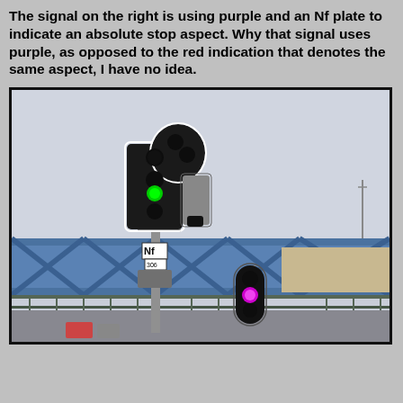The signal on the right is using purple and an Nf plate to indicate an absolute stop aspect. Why that signal uses purple, as opposed to the red indication that denotes the same aspect, I have no idea.
[Figure (photo): Photograph of two railway signals on a bridge structure. The left signal is a multi-head colour light signal showing a green aspect, mounted on a post. The right signal is a smaller oval/capsule-shaped signal showing a purple/magenta light. Both signals are positioned in front of a blue steel lattice bridge girder. An 'Nf' plate and a '306' marker are visible near the base of the left signal. The sky is overcast grey.]